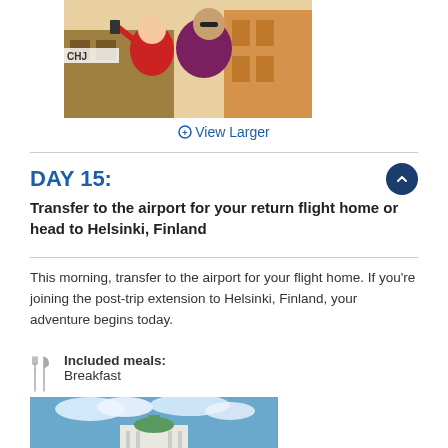[Figure (photo): An older couple taking a selfie outdoors, woman in red jacket, man in purple shirt, colorful buildings behind them]
View Larger
DAY 15:
Transfer to the airport for your return flight home or head to Helsinki, Finland
This morning, transfer to the airport for your flight home. If you're joining the post-trip extension to Helsinki, Finland, your adventure begins today.
Included meals:
Breakfast
[Figure (photo): A white domed cathedral with green roof against a cloudy sky, Helsinki Finland]